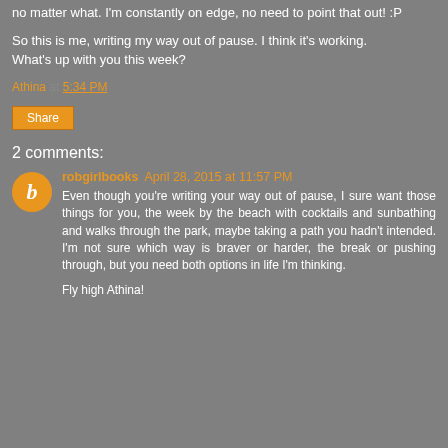no matter what. I'm constantly on edge, no need to point that out! :P
So this is me, writing my way out of pause. I think it's working.
What's up with you this week?
Athina at 5:34 PM
Share
2 comments:
robgirlbooks April 28, 2015 at 11:57 PM
Even though you're writing your way out of pause, I sure want those things for you, the week by the beach with cocktails and sunbathing and walks through the park, maybe taking a path you hadn't intended. I'm not sure which way is braver or harder, the break or pushing through, but you need both options in life I'm thinking.
Fly high Athina!